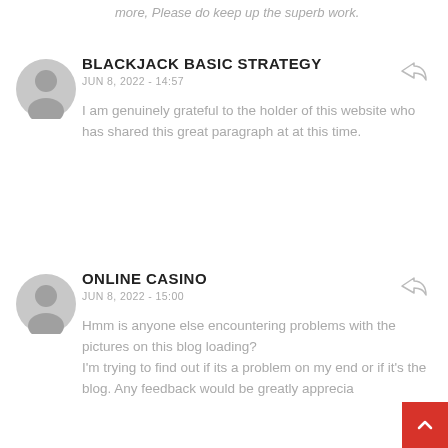more, Please do keep up the superb work.
BLACKJACK BASIC STRATEGY
JUN 8, 2022 - 14:57
I am genuinely grateful to the holder of this website who has shared this great paragraph at at this time.
ONLINE CASINO
JUN 8, 2022 - 15:00
Hmm is anyone else encountering problems with the pictures on this blog loading?
I'm trying to find out if its a problem on my end or if it's the
blog. Any feedback would be greatly apprecia...